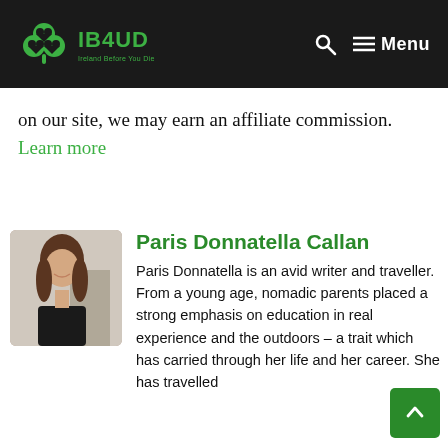IB4UD — Ireland Before You Die
on our site, we may earn an affiliate commission. Learn more
Paris Donnatella Callan
[Figure (photo): Portrait photo of Paris Donnatella Callan, a young woman with long brown hair, smiling, outdoors]
Paris Donnatella is an avid writer and traveller. From a young age, nomadic parents placed a strong emphasis on education in real experience and the outdoors – a trait which has carried through her life and her career. She has travelled